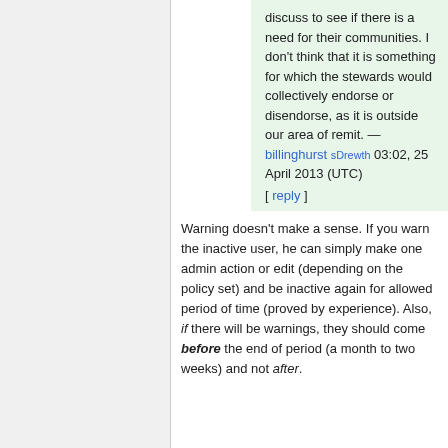discuss to see if there is a need for their communities. I don't think that it is something for which the stewards would collectively endorse or disendorse, as it is outside our area of remit. — billinghurst sDrewth 03:02, 25 April 2013 (UTC)
[ reply ]
Warning doesn't make a sense. If you warn the inactive user, he can simply make one admin action or edit (depending on the policy set) and be inactive again for allowed period of time (proved by experience). Also, if there will be warnings, they should come before the end of period (a month to two weeks) and not after.